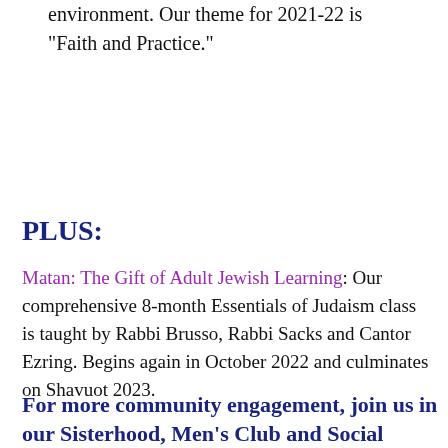supporting in a small group environment. Our theme for 2021-22 is "Faith and Practice."
PLUS:
Matan: The Gift of Adult Jewish Learning: Our comprehensive 8-month Essentials of Judaism class is taught by Rabbi Brusso, Rabbi Sacks and Cantor Ezring. Begins again in October 2022 and culminates on Shavuot 2023.
For more community engagement, join us in our Sisterhood, Men's Club and Social Action activities